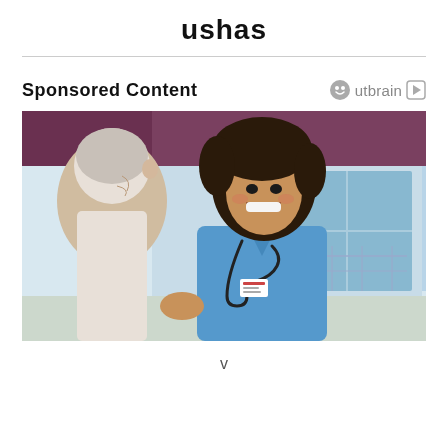ushas
Sponsored Content
[Figure (photo): A smiling female nurse in blue scrubs with a stethoscope talking with an elderly male patient in a home or clinical setting.]
v